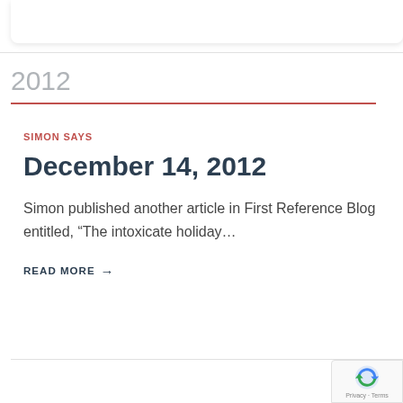2012
SIMON SAYS
December 14, 2012
Simon published another article in First Reference Blog entitled, “The intoxicate holiday…
READ MORE →